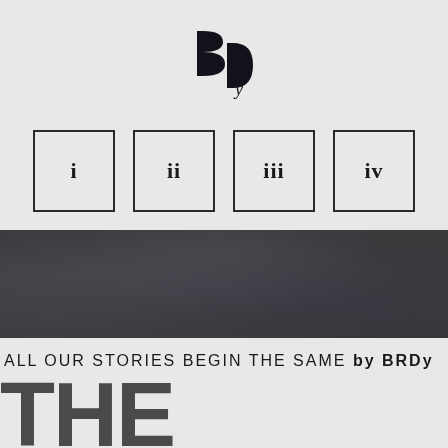[Figure (logo): BRDy monogram logo in dark serif/display font style]
[Figure (infographic): Four numbered boxes in a row with roman numerals i, ii, iii, iv]
[Figure (photo): Dark textured banner/background image with mottled dark gray tones]
ALL OUR STORIES BEGIN THE SAME by BRDy
THE